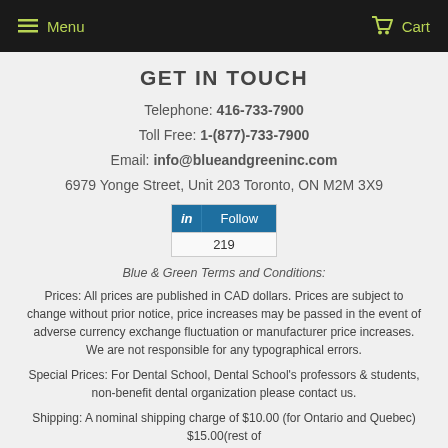Menu   Cart
GET IN TOUCH
Telephone: 416-733-7900
Toll Free: 1-(877)-733-7900
Email: info@blueandgreeninc.com
6979 Yonge Street, Unit 203 Toronto, ON M2M 3X9
[Figure (other): LinkedIn Follow button showing 219 followers]
Blue & Green Terms and Conditions:
Prices: All prices are published in CAD dollars. Prices are subject to change without prior notice, price increases may be passed in the event of adverse currency exchange fluctuation or manufacturer price increases. We are not responsible for any typographical errors.
Special Prices: For Dental School, Dental School's professors & students, non-benefit dental organization please contact us.
Shipping: A nominal shipping charge of $10.00 (for Ontario and Quebec) $15.00(rest of